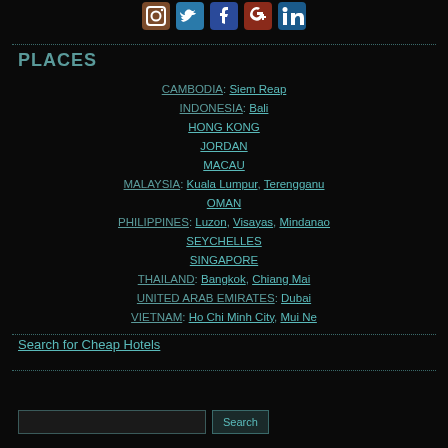[Figure (other): Social media icons: Instagram, Twitter, Facebook, Google+, LinkedIn]
PLACES
CAMBODIA: Siem Reap
INDONESIA: Bali
HONG KONG
JORDAN
MACAU
MALAYSIA: Kuala Lumpur, Terengganu
OMAN
PHILIPPINES: Luzon, Visayas, Mindanao
SEYCHELLES
SINGAPORE
THAILAND: Bangkok, Chiang Mai
UNITED ARAB EMIRATES: Dubai
VIETNAM: Ho Chi Minh City, Mui Ne
Search for Cheap Hotels